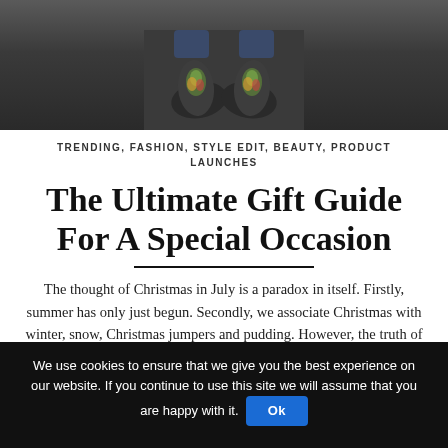[Figure (photo): Top-down view of a person's feet wearing decorative shoes, standing on a dark floor/pavement]
TRENDING, FASHION, STYLE EDIT, BEAUTY, PRODUCT LAUNCHES
The Ultimate Gift Guide For A Special Occasion
The thought of Christmas in July is a paradox in itself. Firstly, summer has only just begun. Secondly, we associate Christmas with winter, snow, Christmas jumpers and pudding. However, the truth of the matter is that many of us stock-up on Christmas gifts months before the festive season. Is the latter a classic example of
We use cookies to ensure that we give you the best experience on our website. If you continue to use this site we will assume that you are happy with it. Ok